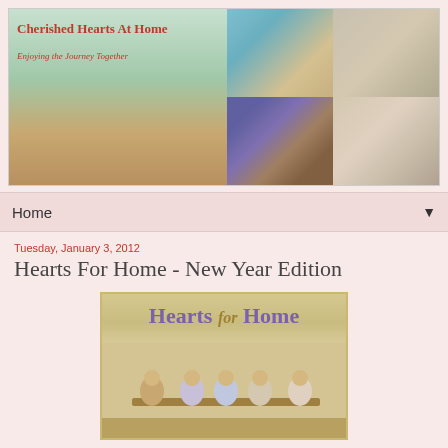[Figure (photo): Blog header banner with 'Cherished Hearts At Home' text on left showing farm scene with toy animals, and four photo collage on right showing crocheted hat, tea set, craft items, and child drawing]
Home ▼
Tuesday, January 3, 2012
Hearts For Home - New Year Edition
[Figure (photo): Hearts for Home logo image with purple and gold text reading 'Hearts for Home' with vintage illustration of children gathered around a table]